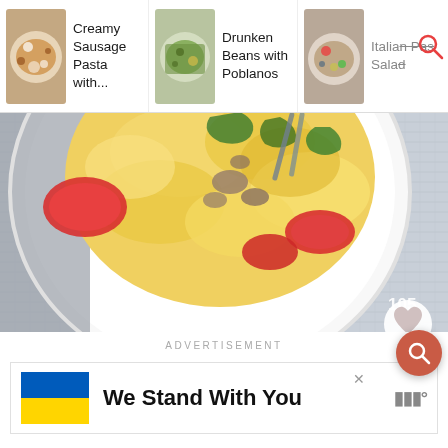[Figure (screenshot): Mobile app navigation bar with three recipe thumbnails: 'Creamy Sausage Pasta with...', 'Drunken Beans with Poblanos', and 'Italian Pasta Salad' with a search icon overlay on the right thumbnail]
[Figure (photo): Close-up overhead photo of a white bowl containing creamy scrambled eggs with red tomatoes, sausage crumbles, and green vegetables, with a blue-grey textured linen napkin beside it. A heart/favorite button and '105' count badge are visible in the bottom right corner.]
ADVERTISEMENT
[Figure (screenshot): Advertisement banner with Ukraine flag colors (blue and yellow) on the left and text 'We Stand With You' with a close X button and a brand logo (WWF or similar) on the right. A floating red search button (FAB) is visible in the top right.]